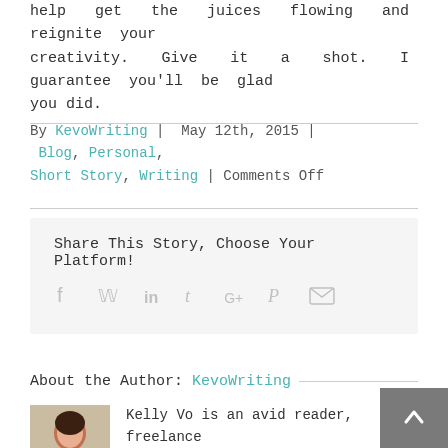help get the juices flowing and reignite your creativity. Give it a shot. I guarantee you'll be glad you did.
By KevoWriting | May 12th, 2015 | Blog, Personal, Short Story, Writing | Comments Off
Share This Story, Choose Your Platform!
[Figure (infographic): Social sharing icons: Facebook, Twitter, LinkedIn, Tumblr, Google+, Pinterest, Email]
About the Author: KevoWriting
Kelly Vo is an avid reader, freelance writer, and the CEO/Owner of Kevo Writing. She is currently working to